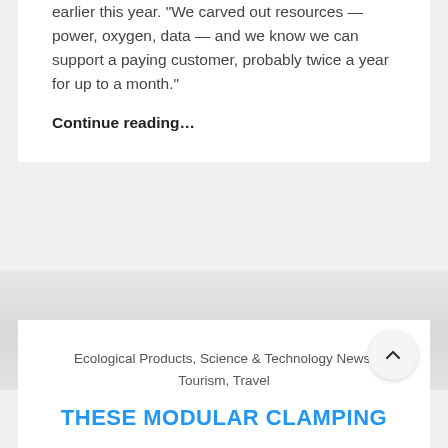earlier this year. “We carved out resources — power, oxygen, data — and we know we can support a paying customer, probably twice a year for up to a month.”
Continue reading…
Ecological Products, Science & Technology News, Tourism, Travel
THESE MODULAR CLAMPING